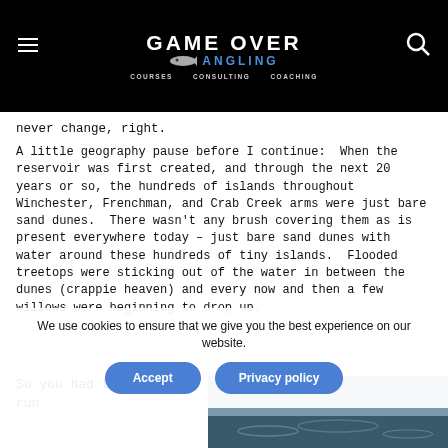GAME OVER ANGLING — COURSES  CONSULTING  COACHING
never change, right.
A little geography pause before I continue:  When the reservoir was first created, and through the next 20 years or so, the hundreds of islands throughout Winchester, Frenchman, and Crab Creek arms were just bare sand dunes.  There wasn't any brush covering them as is present everywhere today – just bare sand dunes with water around these hundreds of tiny islands.  Flooded treetops were sticking out of the water in between the dunes (crappie heaven) and every now and then a few willows were beginning to drop up.
So you had to run
We use cookies to ensure that we give you the best experience on our website.
Accept
Privacy policy